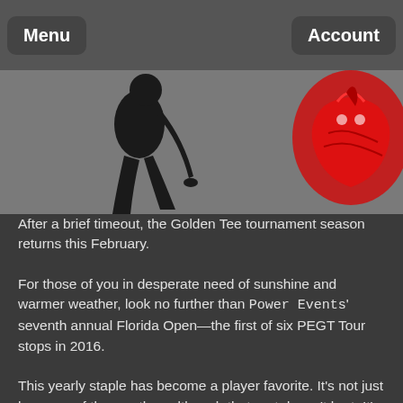Menu   Account
[Figure (photo): Partial image showing a golfer silhouette on the left and a red logo/emblem on the right against a gray background]
After a brief timeout, the Golden Tee tournament season returns this February.
For those of you in desperate need of sunshine and warmer weather, look no further than Power Events' seventh annual Florida Open—the first of six PEGT Tour stops in 2016.
This yearly staple has become a player favorite. It's not just because of the weather, although that part doesn't hurt. It's more about the timing, the people and the location.
Backstage Billiards in Orlando will play host yet again, which is wonderful news. The event will take place between February 18 and February 21.
The festivities will start on Thursday night with a double-elimination